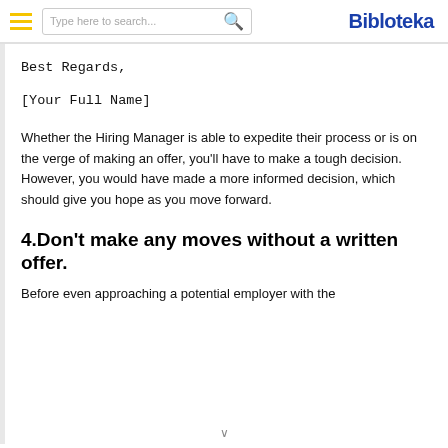Bibloteka — navigation bar with hamburger menu, search box, and logo
Best Regards,
[Your Full Name]
Whether the Hiring Manager is able to expedite their process or is on the verge of making an offer, you'll have to make a tough decision. However, you would have made a more informed decision, which should give you hope as you move forward.
4.Don't make any moves without a written offer.
Before even approaching a potential employer with the